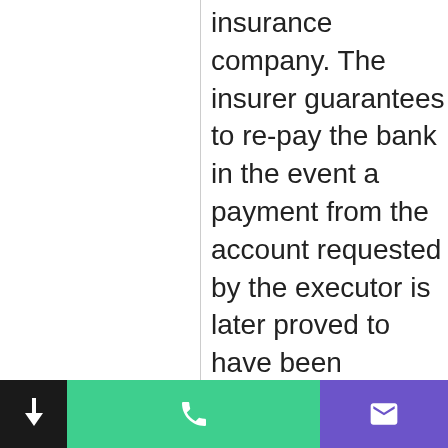insurance company. The insurer guarantees to re-pay the bank in the event a payment from the account requested by the executor is later proved to have been unauthorised, eg if a later will is subsequently discovered.